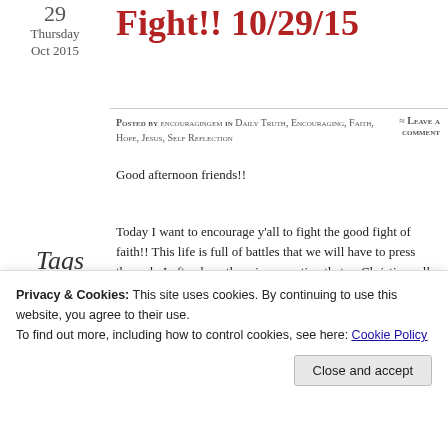Fight!! 10/29/15
29
Thursday
Oct 2015
Posted by encouragingem in Daily Truth, Encouraging, Faith, Hope, Jesus, Self Reflection
≈ Leave a comment
Good afternoon friends!!
Tags
hope, Jesus, love, restoration, trials, Victory
Today I want to encourage y'all to fight the good fight of faith!! This life is full of battles that we will have to press through. I often hear the misconception that as Christians all will be well with us; that we will have a perfect, trouble free life. Huh?! No disrespect, but what bible have you been reading?
All through out scripture we see faithful men and women of
Privacy & Cookies: This site uses cookies. By continuing to use this website, you agree to their use.
To find out more, including how to control cookies, see here: Cookie Policy
Close and accept